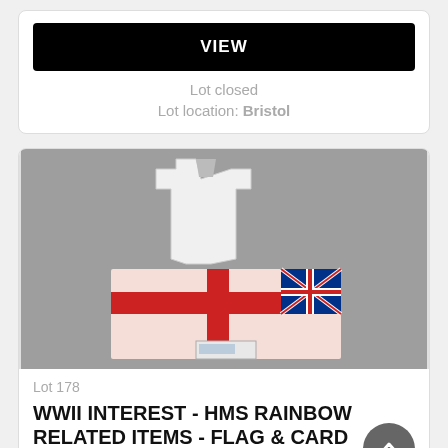VIEW
Lot closed
Lot location: Bristol
[Figure (photo): Photograph of WWII related items including a white shirt/vest and a White Ensign flag (HMS Rainbow) laid on a grey surface]
Lot 178
WWII INTEREST - HMS RAINBOW RELATED ITEMS - FLAG & CARD
25 GBP
Closing bid